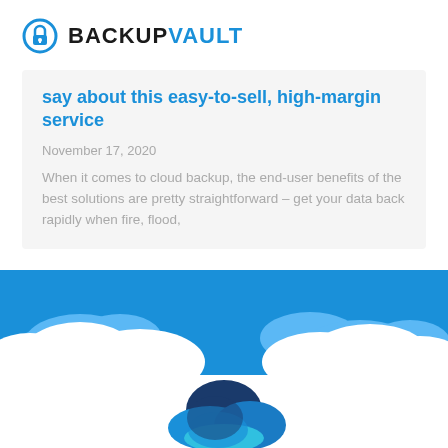[Figure (logo): BackupVault logo with a blue padlock/cloud icon and the text BACKUPVAULT]
say about this easy-to-sell, high-margin service
November 17, 2020
When it comes to cloud backup, the end-user benefits of the best solutions are pretty straightforward – get your data back rapidly when fire, flood,
[Figure (illustration): Blue sky background with white clouds and a blue cloud storage icon (resembling OneDrive/cloud backup logo) in the center foreground]